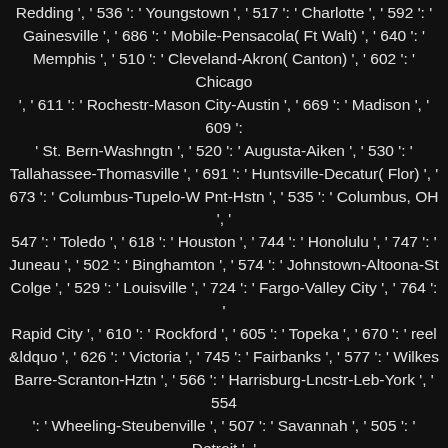Redding ', ' 536 ': ' Youngstown ', ' 517 ': ' Charlotte ', ' 592 ': ' Gainesville ', ' 686 ': ' Mobile-Pensacola( Ft Walt) ', ' 640 ': ' Memphis ', ' 510 ': ' Cleveland-Akron( Canton) ', ' 602 ': ' Chicago ', ' 611 ': ' Rochestr-Mason City-Austin ', ' 669 ': ' Madison ', ' 609 ': ' St. Bern-Washngtn ', ' 520 ': ' Augusta-Aiken ', ' 530 ': ' Tallahassee-Thomasville ', ' 691 ': ' Huntsville-Decatur( Flor) ', ' 673 ': ' Columbus-Tupelo-W Pnt-Hstn ', ' 535 ': ' Columbus, OH ', ' 547 ': ' Toledo ', ' 618 ': ' Houston ', ' 744 ': ' Honolulu ', ' 747 ': ' Juneau ', ' 502 ': ' Binghamton ', ' 574 ': ' Johnstown-Altoona-St Colge ', ' 529 ': ' Louisville ', ' 724 ': ' Fargo-Valley City ', ' 764 ': ' Rapid City ', ' 610 ': ' Rockford ', ' 605 ': ' Topeka ', ' 670 ': ' reel &ldquo ', ' 626 ': ' Victoria ', ' 745 ': ' Fairbanks ', ' 577 ': ' Wilkes Barre-Scranton-Hztn ', ' 566 ': ' Harrisburg-Lncstr-Leb-York ', ' 554 ': ' Wheeling-Steubenville ', ' 507 ': ' Savannah ', ' 505 ': ' Detroit ', ' 638 ': ' St. Joseph ', ' 641 ': ' San Antonio ', ' 636 ': ' Harlingen-Wslco-Brnsvl-Mca ', ' 760 ': ' Twin Falls ', ' 532 ': ' Albany-Schenectady-Troy ', ' 521 ': ' Providence-New Bedford ', ' 511 ': ' Washington, DC( Hagrstwn) ', ' 575 ': ' Chattanooga ', ' 647 ': ' Greenwood-Greenville ', ' 648 ': ' Champaign&Sprngfld-Decatur ', ' 513 ': ' Flint-Saginaw-Bay City ', ' 583 ': ' Alpena ', ' 657 ': ' Sherman-Ada ', ' 623 ': ' fee. Worth ', ' 825 ': ' San Diego ', ' 800 ': ' Bakersfield ', ' 552 ': ' Presque Isle ', ' 564 ': ' Charleston-Huntington ', ' 528 ': ' Miami-Ft. Lauderdale ', ' 711 ': ' Meridian ', ' 725 ': ' Sioux Falls(Mitchell) ', ' 754 ': ' Butte-Bozeman ', ' 603 ': ' Joplin-Pittsburg ', ' 661 ': ' San Angelo ', ' 600 ': ' Corpus Christi ', '